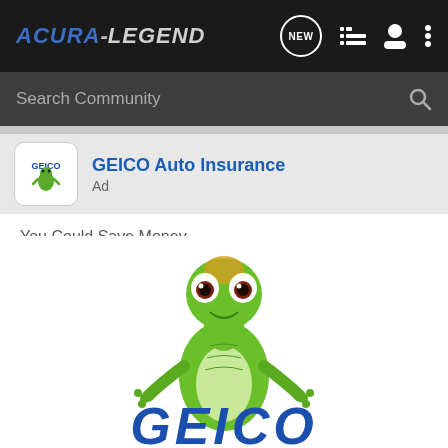ACURA-LEGEND
Search Community
GEICO Auto Insurance
Ad
You Could Save Money
Get a fast and easy quote now.
[Figure (illustration): GEICO gecko mascot (green lizard) photographed from front with GEICO logo text partially visible at bottom of image]